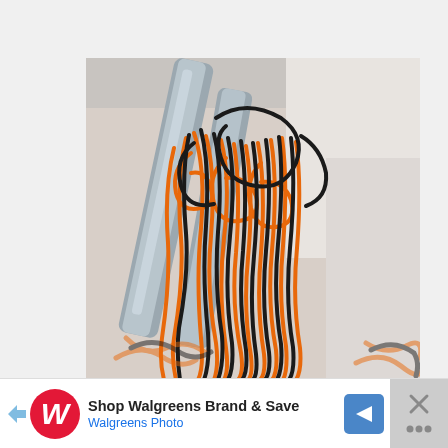[Figure (photo): Close-up photo of orange and black spaghetti-like candy or licorice strands being held by metal tongs, with more candy visible in the blurred background.]
Shop Walgreens Brand & Save
Walgreens Photo